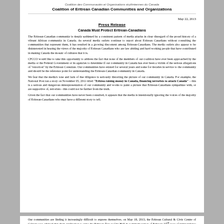Coalition des Communautés et Organisations érythréennes du Canada
Coalition of Eritrean Canadian Communities and Organizations
May 22, 2013
Press Release
Canada Must Protect Eritrean-Canadians
The Eritrean-Canadian community is deeply saddened by a consistent pattern of media attacks in clear disregard of the proud history of a vibrant African community in Canada. As several media outlets continue to report about Eritrean Canadians without consulting the communities that represent them, it has resulted in a growing discontent among Eritrean-Canadians. The media outlets also appear to be disinterested in hearing the views of the majority of Eritrean Canadians who are law abiding and hard working people that have contributed in making Canada the mosaic of cultures that it is.
CFCCO would like to take this opportunity to address the fact that none of the members of our coalition have ever been approached by the media or the Federal Government or its agencies to determine if our community in Canada has ever been a victim of the serious allegations of "extortion" by the Eritrean Consulate. Our communities have existed for several years and some for decades in service to the community and should be the reference point for understanding the Eritrean-Canadian community in Canada.
We fear that the media's tone and lack of due diligence is seriously distorting the picture of our community in Canada. For example, the National Post ran a story on November 05, 2011 titled "Eritrea raising money in Canada, financing terrorists to attack Canada" – this is a serious and dangerous misrepresentation of our community and works to paint a picture that Eritrean-Canadians sympathize with, or are supportive of, terrorists - this could not be further from the truth.
Given the fact that our communities have never been consulted, it appears that the media is intentionally ignoring the voices of the majority of Eritrean-Canadians who may have a different story to tell.
Our communities are finding it increasingly difficult to express themselves. on May 18, 2013, the Eritrean Cultural & Civic Centre of Calgary was advised that their application to raise the Eritrean flag at City Hall in commemoration of Eritrea's 22nd year of independence was rejected. The City of Calgary's protocol office maintained that, "as the UN Security Council currently has sanctions against Eritrea. The City of